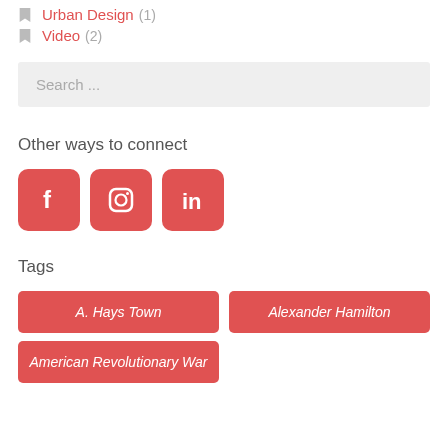Urban Design (1)
Video (2)
Search ...
Other ways to connect
[Figure (illustration): Three social media icon buttons: Facebook, Instagram, LinkedIn — red rounded squares with white icons]
Tags
A. Hays Town
Alexander Hamilton
American Revolutionary War